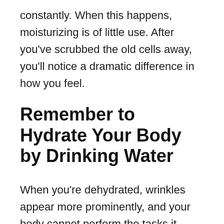constantly. When this happens, moisturizing is of little use. After you've scrubbed the old cells away, you'll notice a dramatic difference in how you feel.
Remember to Hydrate Your Body by Drinking Water
When you're dehydrated, wrinkles appear more prominently, and your body cannot perform the tasks it should be.
To enhance your appearance, make a daily habit of drinking eight glasses of water, one glass every two hours. A gallon of water after